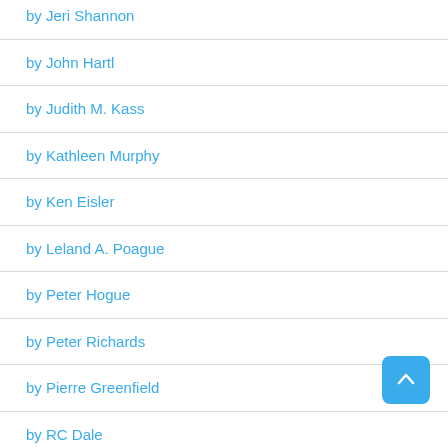by Jeri Shannon
by John Hartl
by Judith M. Kass
by Kathleen Murphy
by Ken Eisler
by Leland A. Poague
by Peter Hogue
by Peter Richards
by Pierre Greenfield
by RC Dale